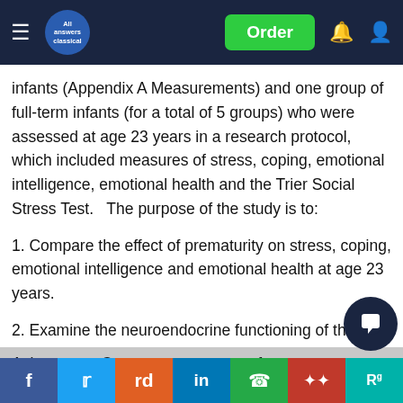All Answers Classical — Order
infants (Appendix A Measurements) and one group of full-term infants (for a total of 5 groups) who were assessed at age 23 years in a research protocol, which included measures of stress, coping, emotional intelligence, emotional health and the Trier Social Stress Test.   The purpose of the study is to:
1. Compare the effect of prematurity on stress, coping, emotional intelligence and emotional health at age 23 years.
2. Examine the neuroendocrine functioning of the stress response and the stress recovery period at age 23 years
3. Examine emotional health with HPA
Axis stress C t or a m a for prematurity and gender.  The knowledge gained from this